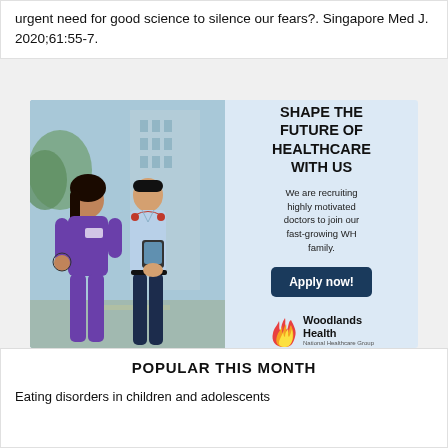urgent need for good science to silence our fears?. Singapore Med J. 2020;61:55-7.
[Figure (photo): Woodlands Health advertisement banner showing two healthcare professionals (female in purple scrubs holding stethoscope, male in light blue shirt with stethoscope and tablet) standing outdoors. Right side has light blue background with text 'SHAPE THE FUTURE OF HEALTHCARE WITH US', body copy about recruiting doctors, 'Apply now!' button, and Woodlands Health National Healthcare Group logo.]
POPULAR THIS MONTH
Eating disorders in children and adolescents